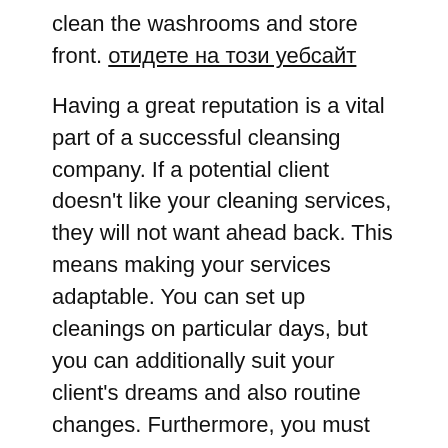clean the washrooms and store front. отидете на този уебсайт
Having a great reputation is a vital part of a successful cleansing company. If a potential client doesn't like your cleaning services, they will not want ahead back. This means making your services adaptable. You can set up cleanings on particular days, but you can additionally suit your client's dreams and also routine changes. Furthermore, you must know the tax obligation effects of running a cleaning company. Right here are some pointers for building a favorable online reputation.
Costs – Before hiring a cleaning business, you